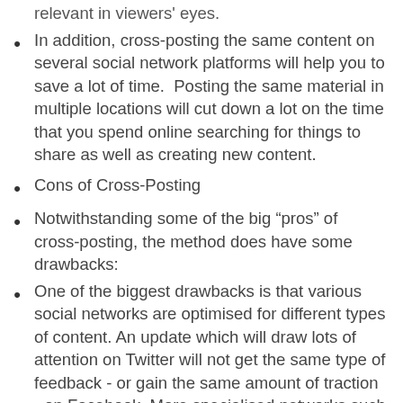relevant in viewers' eyes.
In addition, cross-posting the same content on several social network platforms will help you to save a lot of time.  Posting the same material in multiple locations will cut down a lot on the time that you spend online searching for things to share as well as creating new content.
Cons of Cross-Posting
Notwithstanding some of the big “pros” of cross-posting, the method does have some drawbacks:
One of the biggest drawbacks is that various social networks are optimised for different types of content. An update which will draw lots of attention on Twitter will not get the same type of feedback - or gain the same amount of traction - on Facebook. More specialised networks such as Instagram and Pinterest will not even contain the same types of content as your Twitter feed. Posting the same items to various networks indicates that you aren’t utilising each distinctive